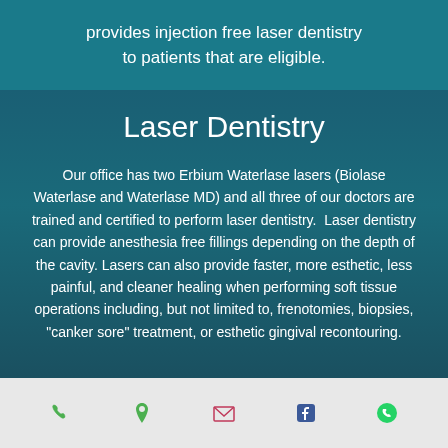provides injection free laser dentistry to patients that are eligible.
Laser Dentistry
Our office has two Erbium Waterlase lasers (Biolase Waterlase and Waterlase MD) and all three of our doctors are trained and certified to perform laser dentistry.  Laser dentistry can provide anesthesia free fillings depending on the depth of the cavity. Lasers can also provide faster, more esthetic, less painful, and cleaner healing when performing soft tissue operations including, but not limited to, frenotomies, biopsies, "canker sore" treatment, or esthetic gingival recontouring.
[Figure (infographic): Footer navigation bar with phone, location pin, email, Facebook, and WhatsApp icons]